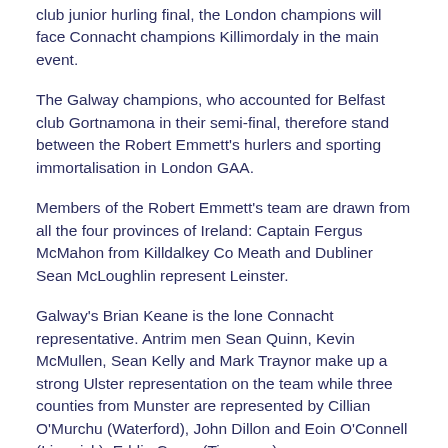club junior hurling final, the London champions will face Connacht champions Killimordaly in the main event.
The Galway champions, who accounted for Belfast club Gortnamona in their semi-final, therefore stand between the Robert Emmett's hurlers and sporting immortalisation in London GAA.
Members of the Robert Emmett's team are drawn from all the four provinces of Ireland: Captain Fergus McMahon from Killdalkey Co Meath and Dubliner Sean McLoughlin represent Leinster.
Galway's Brian Keane is the lone Connacht representative. Antrim men Sean Quinn, Kevin McMullen, Sean Kelly and Mark Traynor make up a strong Ulster representation on the team while three counties from Munster are represented by Cillian O'Murchu (Waterford), John Dillon and Eoin O'Connell (Limerick), Eddie Carey (Tipperary).
And finally, Cork, which has the greatest representation, in goalkeeper Colm Buckley, Luke Mannix, Brian Foley, Tadhg O'Callaghan, Jim Ryan, and John Quinlan.
Robert Emmett's are also managed by Cork man Mick O'Dea. A long-serving member of the Robert Emmett's club, the Liscarroll native will